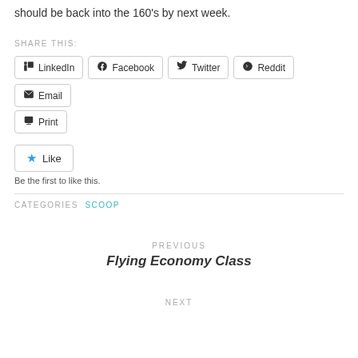should be back into the 160's by next week.
SHARE THIS:
LinkedIn
Facebook
Twitter
Reddit
Email
Print
Like
Be the first to like this.
CATEGORIES  SCOOP
PREVIOUS
Flying Economy Class
NEXT